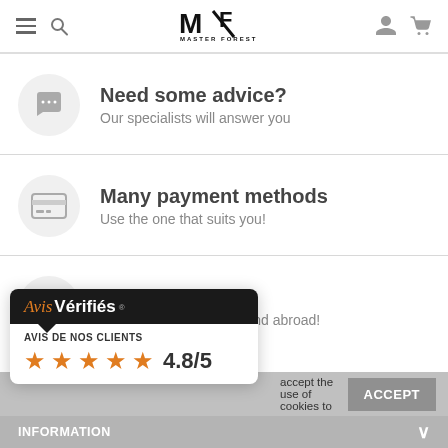Master Forest — navigation header with logo, hamburger menu, search, user and cart icons
Need some advice?
Our specialists will answer you
Many payment methods
Use the one that suits you!
Fast delivery
Fast delivery in France and abroad!
accept the use of cookies to
[Figure (logo): Avis Vérifiés logo on dark background with speech bubble pointer]
AVIS DE NOS CLIENTS
★★★★★ 4.8/5
INFORMATION